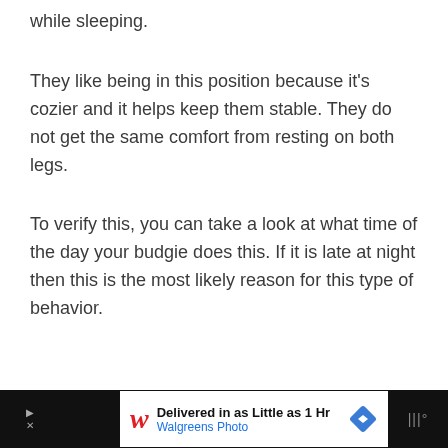while sleeping.
They like being in this position because it's cozier and it helps keep them stable. They do not get the same comfort from resting on both legs.
To verify this, you can take a look at what time of the day your budgie does this. If it is late at night then this is the most likely reason for this type of behavior.
[Figure (other): Advertisement banner for Walgreens Photo: 'Delivered in as Little as 1 Hr' with Walgreens logo and navigation arrow icon]